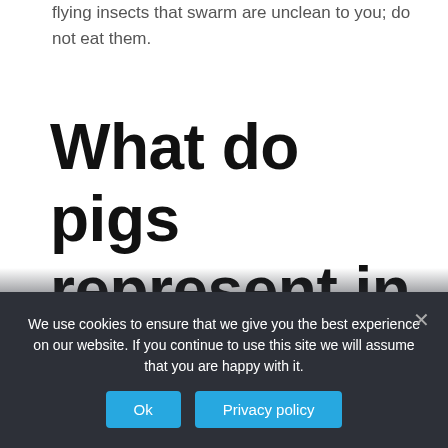flying insects that swarm are unclean to you; do not eat them.
What do pigs represent in literature?
Pig Symbolism & Meaning | Spirit, Totem & Power Animal. Pigs symbolize greed but they also represent materialism and fertility.
We use cookies to ensure that we give you the best experience on our website. If you continue to use this site we will assume that you are happy with it.